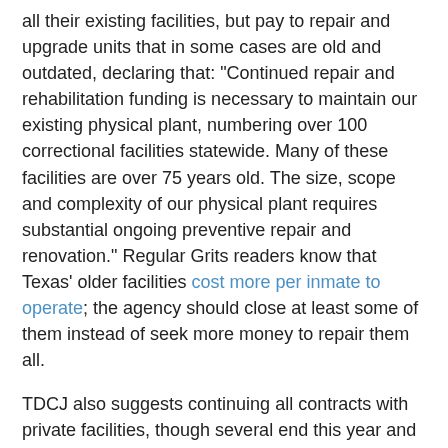all their existing facilities, but pay to repair and upgrade units that in some cases are old and outdated, declaring that: "Continued repair and rehabilitation funding is necessary to maintain our existing physical plant, numbering over 100 correctional facilities statewide. Many of these facilities are over 75 years old. The size, scope and complexity of our physical plant requires substantial ongoing preventive repair and renovation." Regular Grits readers know that Texas' older facilities cost more per inmate to operate; the agency should close at least some of them instead of seek more money to repair them all.
TDCJ also suggests continuing all contracts with private facilities, though several end this year and seem like prime targets for cutting. Some private vendors provide halfway houses and drug treatment services that need to be retained because closing them might reduce parole rates, but those simply warehousing inmates ought to be at the top of the list for the chopping block.
One silver lining: For the first time in years (if ever), TDCJ suggests zeroing out its budget for new facility construction